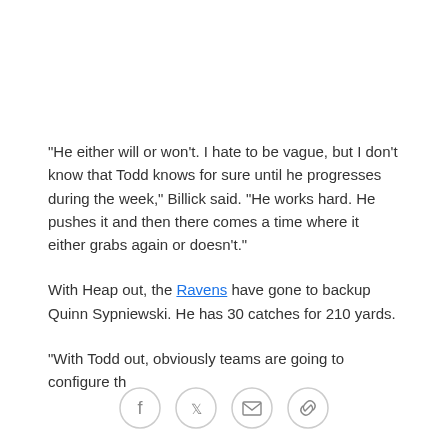"He either will or won't. I hate to be vague, but I don't know that Todd knows for sure until he progresses during the week," Billick said. "He works hard. He pushes it and then there comes a time where it either grabs again or doesn't."
With Heap out, the Ravens have gone to backup Quinn Sypniewski. He has 30 catches for 210 yards.
"With Todd out, obviously teams are going to configure th...differently," Billick said. "I...
[Figure (other): Social sharing icons: Facebook, Twitter, Email, Link]